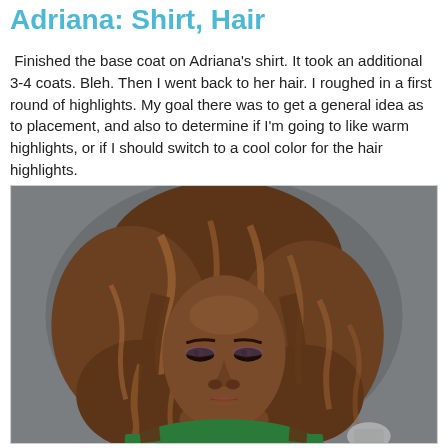Adriana: Shirt, Hair
Finished the base coat on Adriana's shirt. It took an additional 3-4 coats. Bleh. Then I went back to her hair. I roughed in a first round of highlights. My goal there was to get a general idea as to placement, and also to determine if I'm going to like warm highlights, or if I should switch to a cool color for the hair highlights.
[Figure (photo): A painted miniature figurine bust of a dark-skinned woman with voluminous brown hair with highlights, wearing a green garment. The figure is displayed against a grey background.]